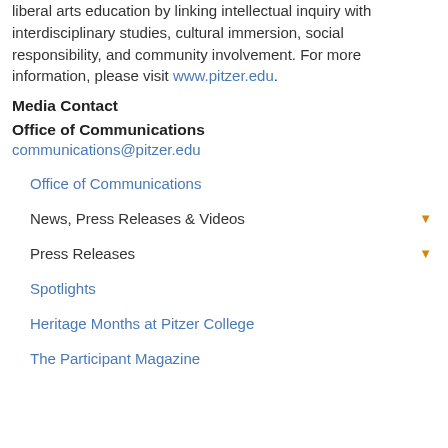liberal arts education by linking intellectual inquiry with interdisciplinary studies, cultural immersion, social responsibility, and community involvement. For more information, please visit www.pitzer.edu.
Media Contact
Office of Communications
communications@pitzer.edu
Office of Communications
News, Press Releases & Videos
Press Releases
Spotlights
Heritage Months at Pitzer College
The Participant Magazine